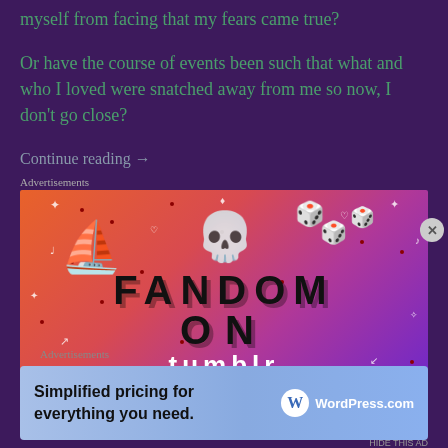myself from facing that my fears came true?
Or have the course of events been such that what and who I loved were snatched away from me so now, I don't go close?
Continue reading →
Advertisements
[Figure (illustration): Fandom on Tumblr advertisement banner with colorful gradient background (orange to purple), featuring illustrated icons (sailboat, skull, dice), decorative doodles (hearts, music notes, sparkles, dots), and bold text reading FANDOM ON tumblr]
Advertisements
[Figure (illustration): WordPress.com advertisement banner with blue gradient background, text 'Simplified pricing for everything you need.' and WordPress.com logo on the right]